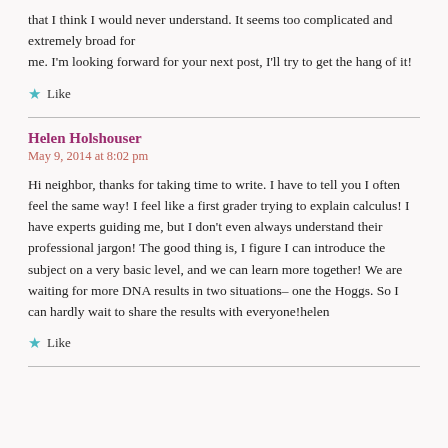that I think I would never understand. It seems too complicated and extremely broad for me. I'm looking forward for your next post, I'll try to get the hang of it!
★ Like
Helen Holshouser
May 9, 2014 at 8:02 pm
Hi neighbor, thanks for taking time to write. I have to tell you I often feel the same way! I feel like a first grader trying to explain calculus! I have experts guiding me, but I don't even always understand their professional jargon! The good thing is, I figure I can introduce the subject on a very basic level, and we can learn more together! We are waiting for more DNA results in two situations– one the Hoggs. So I can hardly wait to share the results with everyone!helen
★ Like